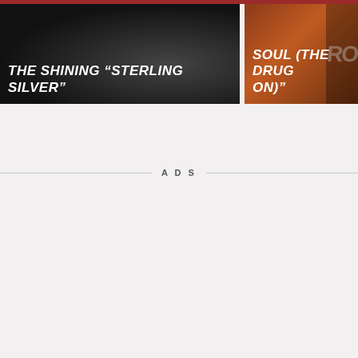[Figure (photo): Left card with dark background showing 'THE SHINING STERLING SILVER' title text in white bold italic on black background with subtle circular object visible]
THE SHINING “STERLING SILVER”
[Figure (photo): Right card with orange/brown background showing 'SOUL (THE DRUG ON)' title text in white bold italic, with partial text BEFOR visible]
SOUL (THE DRUG ON)”
ADS